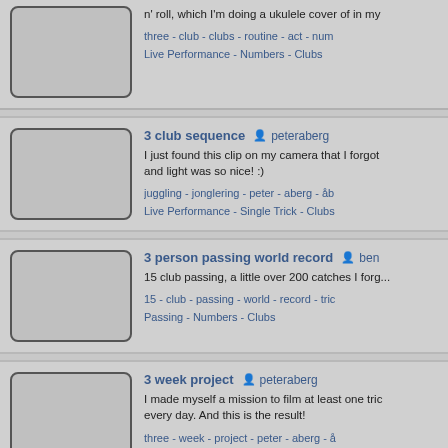[Figure (screenshot): Video thumbnail placeholder - gray rounded rectangle]
n' roll, which I'm doing a ukulele cover of in my
three - club - clubs - routine - act - num...
Live Performance - Numbers - Clubs
[Figure (screenshot): Video thumbnail placeholder - gray rounded rectangle]
3 club sequence
peteraberg
I just found this clip on my camera that I forgot... and light was so nice! :)
juggling - jonglering - peter - aberg - åb...
Live Performance - Single Trick - Clubs
[Figure (screenshot): Video thumbnail placeholder - gray rounded rectangle]
3 person passing world record
ben...
15 club passing, a little over 200 catches I forg...
15 - club - passing - world - record - tric...
Passing - Numbers - Clubs
[Figure (screenshot): Video thumbnail placeholder - gray rounded rectangle]
3 week project
peteraberg
I made myself a mission to film at least one tric... every day. And this is the result!
three - week - project - peter - aberg - å...